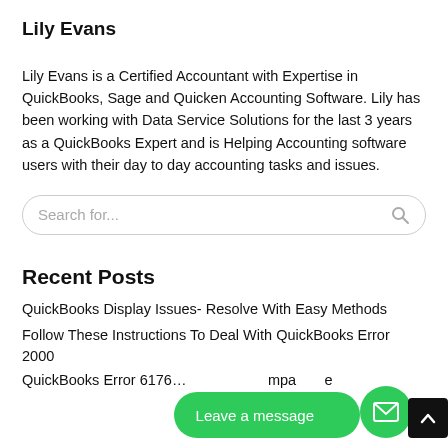Lily Evans
Lily Evans is a Certified Accountant with Expertise in QuickBooks, Sage and Quicken Accounting Software. Lily has been working with Data Service Solutions for the last 3 years as a QuickBooks Expert and is Helping Accounting software users with their day to day accounting tasks and issues.
Recent Posts
QuickBooks Display Issues- Resolve With Easy Methods
Follow These Instructions To Deal With QuickBooks Error 2000
QuickBooks Error 6176…